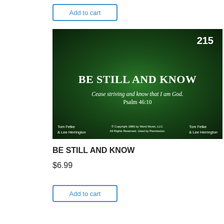Add to cart
[Figure (illustration): Sheet music product thumbnail on dark green radial gradient background. Number 215 in top right. Title 'BE STILL AND KNOW' in large bold white serif text. Italic text below: 'Cease striving and know that I am God.' followed by 'Psalm 46:10'. Bottom left and right: 'Tom Fetke & Lee Herrington'. Center bottom: '© Copyright 1986 by Word Music, LLC. All Rights Reserved. Used by Permission.']
BE STILL AND KNOW
$6.99
Add to cart